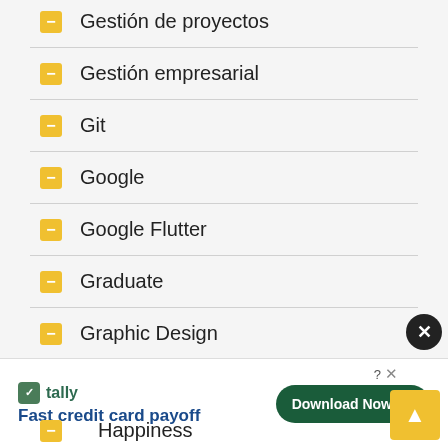Gestión de proyectos
Gestión empresarial
Git
Google
Google Flutter
Graduate
Graphic Design
Growth Hacking
Guitar
Happiness
Fast credit card payoff
Download Now →